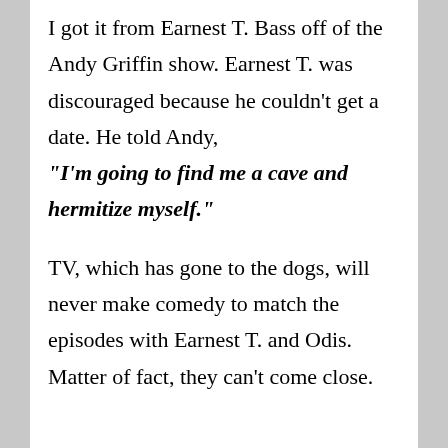I got it from Earnest T. Bass off of the Andy Griffin show. Earnest T. was discouraged because he couldn't get a date. He told Andy, "I'm going to find me a cave and hermitize myself."
TV, which has gone to the dogs, will never make comedy to match the episodes with Earnest T. and Odis. Matter of fact, they can't come close.